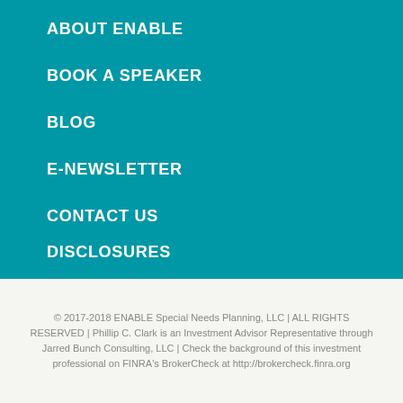ABOUT ENABLE
BOOK A SPEAKER
BLOG
E-NEWSLETTER
CONTACT US
DISCLOSURES
© 2017-2018 ENABLE Special Needs Planning, LLC | ALL RIGHTS RESERVED | Phillip C. Clark is an Investment Advisor Representative through Jarred Bunch Consulting, LLC | Check the background of this investment professional on FINRA's BrokerCheck at http://brokercheck.finra.org